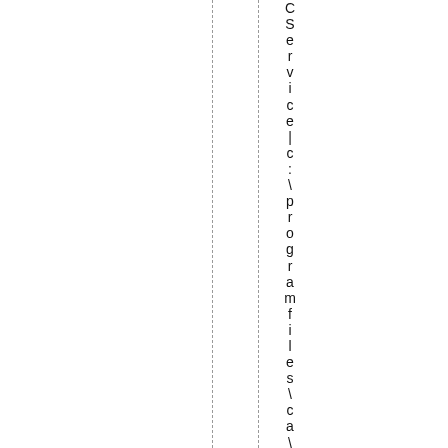CService|c:\programfiles\ca\et